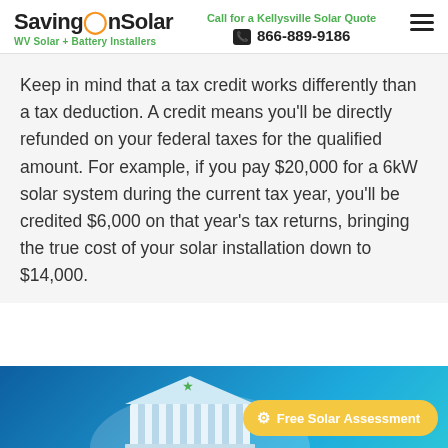SavingOnSolar — WV Solar + Battery Installers | Call for a Kellysville Solar Quote | 866-889-9186
Keep in mind that a tax credit works differently than a tax deduction. A credit means you'll be directly refunded on your federal taxes for the qualified amount. For example, if you pay $20,000 for a 6kW solar system during the current tax year, you'll be credited $6,000 on that year's tax returns, bringing the true cost of your solar installation down to $14,000.
[Figure (illustration): Blue gradient background with a government/courthouse building illustration and a yellow rounded button labeled 'Free Solar Assessment' with a gear icon]